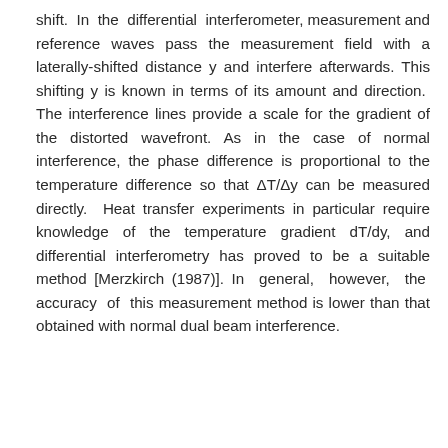shift. In the differential interferometer, measurement and reference waves pass the measurement field with a laterally-shifted distance y and interfere afterwards. This shifting y is known in terms of its amount and direction. The interference lines provide a scale for the gradient of the distorted wavefront. As in the case of normal interference, the phase difference is proportional to the temperature difference so that ΔT/Δy can be measured directly. Heat transfer experiments in particular require knowledge of the temperature gradient dT/dy, and differential interferometry has proved to be a suitable method [Merzkirch (1987)]. In general, however, the accuracy of this measurement method is lower than that obtained with normal dual beam interference.